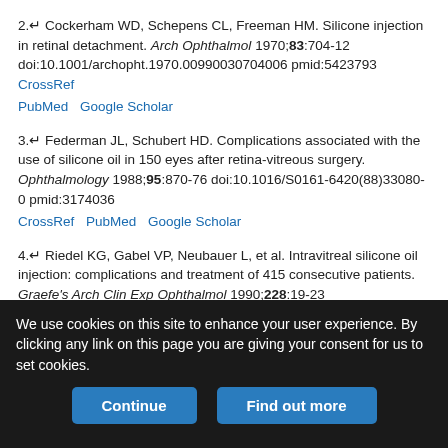2. Cockerham WD, Schepens CL, Freeman HM. Silicone injection in retinal detachment. Arch Ophthalmol 1970;83:704-12 doi:10.1001/archopht.1970.00990030704006 pmid:5423793 CrossRef PubMed Google Scholar
3. Federman JL, Schubert HD. Complications associated with the use of silicone oil in 150 eyes after retina-vitreous surgery. Ophthalmology 1988;95:870-76 doi:10.1016/S0161-6420(88)33080-0 pmid:3174036 CrossRef PubMed Google Scholar
4. Riedel KG, Gabel VP, Neubauer L, et al. Intravitreal silicone oil injection: complications and treatment of 415 consecutive patients. Graefe's Arch Clin Exp Ophthalmol 1990;228:19-23 doi:10.1007/BF02764284 pmid:2311940 CrossRef PubMed Google Scholar
5. Borse PA, Slay CD, Gupta AS, et al. Retrolaminear migration of...
We use cookies on this site to enhance your user experience. By clicking any link on this page you are giving your consent for us to set cookies.